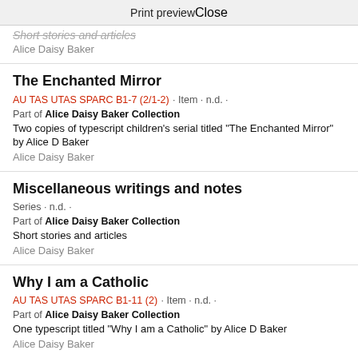Print preview   Close
Short stories and articles
Alice Daisy Baker
The Enchanted Mirror
AU TAS UTAS SPARC B1-7 (2/1-2) · Item · n.d. ·
Part of Alice Daisy Baker Collection
Two copies of typescript children's serial titled "The Enchanted Mirror" by Alice D Baker
Alice Daisy Baker
Miscellaneous writings and notes
Series · n.d. ·
Part of Alice Daisy Baker Collection
Short stories and articles
Alice Daisy Baker
Why I am a Catholic
AU TAS UTAS SPARC B1-11 (2) · Item · n.d. ·
Part of Alice Daisy Baker Collection
One typescript titled "Why I am a Catholic" by Alice D Baker
Alice Daisy Baker